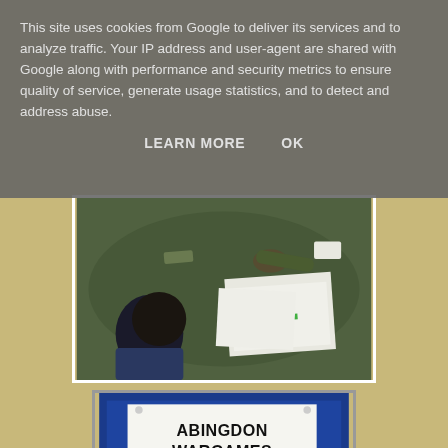This site uses cookies from Google to deliver its services and to analyze traffic. Your IP address and user-agent are shared with Google along with performance and security metrics to ensure quality of service, generate usage statistics, and to detect and address abuse.
LEARN MORE    OK
[Figure (photo): A child viewed from behind sitting at a wargaming table with miniatures and terrain, with papers/rulebooks spread out on the table surface.]
[Figure (photo): A sign on a blue noticeboard reading ABINGDON WARGAMES CLUB in bold black text on white paper.]